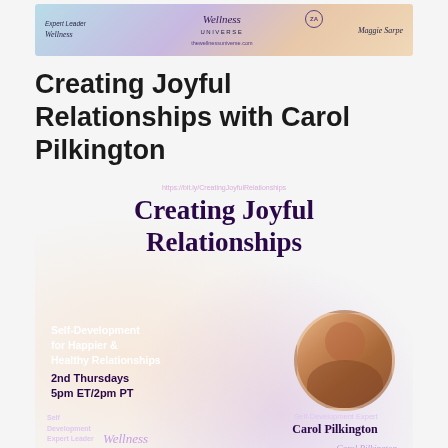[Figure (illustration): Top banner image with Wellness Universe branding, showing Expert Leader text, Wellness script logo, Wellness Universe center logo, and Maggie Sarfo signature on a pastel gradient background]
Creating Joyful Relationships with Carol Pilkington
[Figure (infographic): Promotional poster with purple gradient background. Title: Creating Joyful Relationships. URL: https://bit.ly/CreatingJoyfulRelationships. Subtitle: Self-Development for Happier & Healthy Relationships, 2nd Thursdays 5pm ET/2pm PT. Photo of Carol Pilkington (woman with dark hair, smiling). Text: Self-Development Expert Carol Pilkington. Bottom: Self Development Expert Leader, Wellness logo, Carol Pilkington signature.]